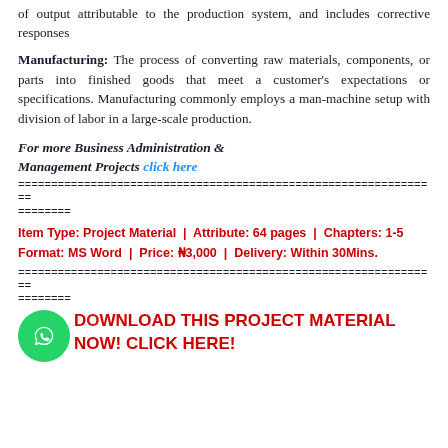of output attributable to the production system, and includes corrective responses
Manufacturing: The process of converting raw materials, components, or parts into finished goods that meet a customer's expectations or specifications. Manufacturing commonly employs a man-machine setup with division of labor in a large-scale production.
For more Business Administration & Management Projects click here
================================================================
========
Item Type: Project Material  |  Attribute: 64 pages  |  Chapters: 1-5
Format: MS Word  |  Price: ₦3,000  |  Delivery: Within 30Mins.
================================================================
========
DOWNLOAD THIS PROJECT MATERIAL NOW! CLICK HERE!